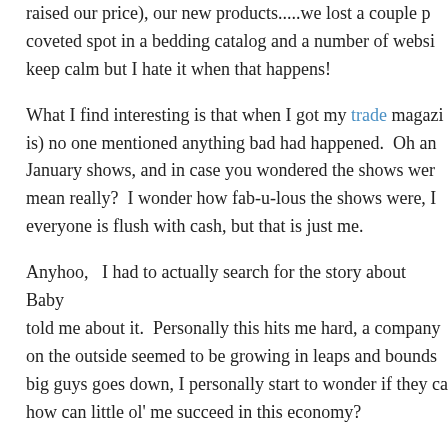raised our price), our new products.....we lost a couple p[laces — a] coveted spot in a bedding catalog and a number of websi[tes]. keep calm but I hate it when that happens!
What I find interesting is that when I got my trade magazi[ne (whatever it is) no one mentioned anything bad had happened.  Oh an[d the] January shows, and in case you wondered the shows wer[e great — I] mean really?  I wonder how fab-u-lous the shows were, I [assume] everyone is flush with cash, but that is just me.
Anyhoo,   I had to actually search for the story about Baby[Trend who] told me about it.  Personally this hits me hard, a company [that] on the outside seemed to be growing in leaps and bounds[. When a] big guys goes down, I personally start to wonder if they ca[n't ...] how can little ol' me succeed in this economy?
The possibility of a pitty party is highly likely.....having be[en through the] last Recession I remember what it was like.  No, we were [not... it] is that fear hanging over your head and having to pay for [things] being a whopping 17 years old - not fun.  But I digress, an[d...]